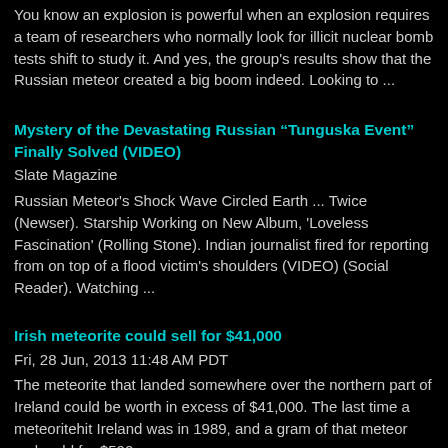You know an explosion is powerful when an explosion requires a team of researchers who normally look for illicit nuclear bomb tests shift to study it. And yes, the group's results show that the Russian meteor created a big boom indeed. Looking to ...
Mystery of the Devastating Russian “Tunguska Event” Finally Solved (VIDEO)
Slate Magazine
Russian Meteor's Shock Wave Circled Earth ... Twice (Newser). Starship Working on New Album, 'Loveless Fascination' (Rolling Stone). Indian journalist fired for reporting from on top of a flood victim's shoulders (VIDEO) (Social Reader). Watching ...
Irish meteorite could sell for $41,000
Fri, 28 Jun, 2013 11:48 AM PDT
The meteorite that landed somewhere over the northern part of Ireland could be worth in excess of $41,000. The last time a meteoritehit Ireland was in 1989, and a gram of that meteor rock sold for $500.